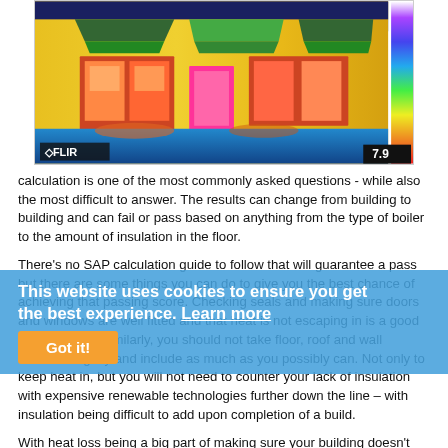[Figure (photo): Thermal infrared image of a house facade showing heat loss patterns. FLIR camera image with temperature scale bar on the right side showing value 7.9. Colors range from cool blue/purple (low heat loss) to warm yellow/red/pink (high heat loss). The FLIR logo is visible in the bottom-left corner.]
calculation is one of the most commonly asked questions - while also the most difficult to answer. The results can change from building to building and can fail or pass based on anything from the type of boiler to the amount of insulation in the floor.
There's no SAP calculation guide to follow that will guarantee a pass but there are some things you can do to give you the best chance of achieving that passing score. Checking seals and making sure doors and windows are well fitted and that heat is not escaping in is a good place to start. Similarly, you should not take floor, roof and wall insulation lightly and include as much as you possibly can. Not only to keep heat in, but you will not need to counter your lack of insulation with expensive renewable technologies further down the line – with insulation being difficult to add upon completion of a build.
This website uses cookies to ensure you get the best experience. Learn more
Got it!
With heat loss being a big part of making sure your building doesn't waste energy, all seals need to be airtight. All new builds require an air leakage test when complete anyway, and this is another reason to check your seals and make sure nothing is escaping that shouldn't be